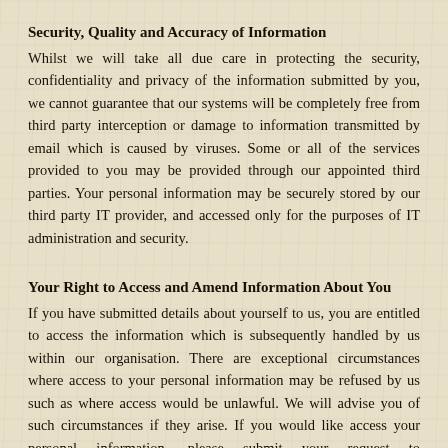Security, Quality and Accuracy of Information
Whilst we will take all due care in protecting the security, confidentiality and privacy of the information submitted by you, we cannot guarantee that our systems will be completely free from third party interception or damage to information transmitted by email which is caused by viruses. Some or all of the services provided to you may be provided through our appointed third parties. Your personal information may be securely stored by our third party IT provider, and accessed only for the purposes of IT administration and security.
Your Right to Access and Amend Information About You
If you have submitted details about yourself to us, you are entitled to access the information which is subsequently handled by us within our organisation. There are exceptional circumstances where access to your personal information may be refused by us such as where access would be unlawful. We will advise you of such circumstances if they arise. If you would like access your personal information, please submit your request to info@patagoniachocolates.co.nz outlining the